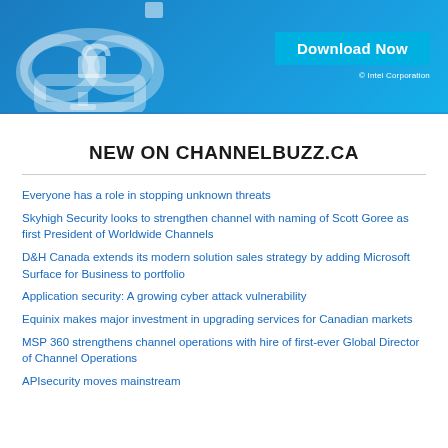[Figure (screenshot): Blue banner advertisement with cloud and lock icon on left, 'Download Now' button in lighter blue box on right, '© Intel Corporation' text below button]
NEW ON CHANNELBUZZ.CA
Everyone has a role in stopping unknown threats
Skyhigh Security looks to strengthen channel with naming of Scott Goree as first President of Worldwide Channels
D&H Canada extends its modern solution sales strategy by adding Microsoft Surface for Business to portfolio
Application security: A growing cyber attack vulnerability
Equinix makes major investment in upgrading services for Canadian markets
MSP 360 strengthens channel operations with hire of first-ever Global Director of Channel Operations
APIsecurity moves mainstream